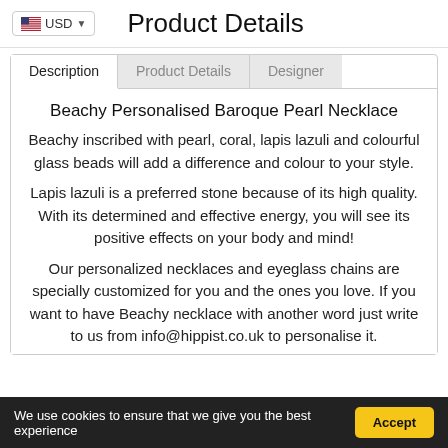USD  Product Details
Description | Product Details | Designer
Beachy Personalised Baroque Pearl Necklace
Beachy inscribed with pearl, coral, lapis lazuli and colourful glass beads will add a difference and colour to your style.
Lapis lazuli is a preferred stone because of its high quality. With its determined and effective energy, you will see its positive effects on your body and mind!
Our personalized necklaces and eyeglass chains are specially customized for you and the ones you love. If you want to have Beachy necklace with another word just write to us from info@hippist.co.uk to personalise it.
We use cookies to ensure that we give you the best experience